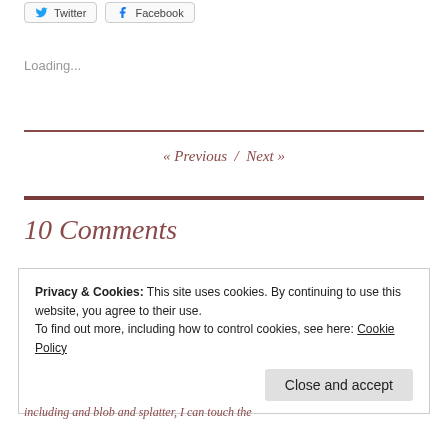[Figure (other): Social share buttons for Twitter and Facebook]
Loading...
« Previous  /  Next »
10 Comments
Privacy & Cookies: This site uses cookies. By continuing to use this website, you agree to their use.
To find out more, including how to control cookies, see here: Cookie Policy
Close and accept
including and blob and splatter, I can touch the